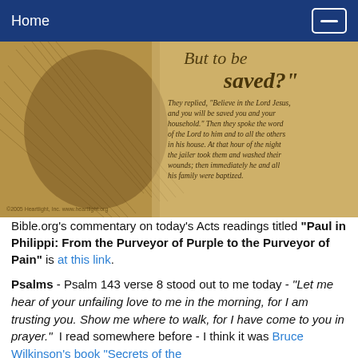Home
[Figure (illustration): Sepia-toned biblical illustration showing a figure in dramatic pose with scripture text overlay: 'saved?' and Acts 16 passage about the jailer being baptized. Copyright 2005 Heartlight Inc.]
Bible.org's commentary on today's Acts readings titled "Paul in Philippi: From the Purveyor of Purple to the Purveyor of Pain" is at this link.
Psalms - Psalm 143 verse 8 stood out to me today - "Let me hear of your unfailing love to me in the morning, for I am trusting you. Show me where to walk, for I have come to you in prayer." I read somewhere before - I think it was Bruce Wilkinson's book "Secrets of the